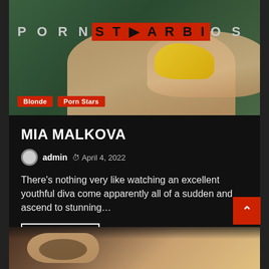[Figure (photo): Hero image showing a blonde woman in a yellow swimsuit posing on a surface with green foliage background, with the PornStarBios logo overlaid and category tags 'Blonde' and 'Porn Stars' at the bottom left]
MIA MALKOVA
admin  April 4, 2022
There's nothing very like watching an excellent youthful diva come apparently all of a sudden and ascend to stunning…
Read More
[Figure (photo): Partial view of a blonde woman with tattoo on arm]